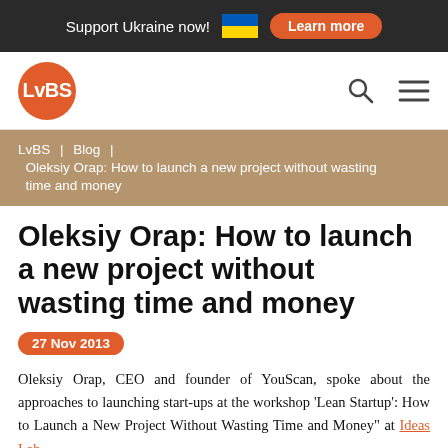Support Ukraine now!  Learn more
[Figure (logo): LvBS orange circular logo with white text]
LvBS | Blog | Oleksiy Orap: How to launch a new project without wasting time and money
Oleksiy Orap: How to launch a new project without wasting time and money
27 Nov 2013
Oleksiy Orap, CEO and founder of YouScan, spoke about the approaches to launching start-ups at the workshop 'Lean Startup': How to Launch a New Project Without Wasting Time and Money" at Ideas Lab.